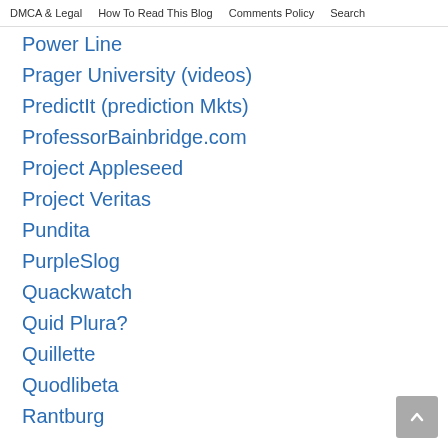DMCA & Legal   How To Read This Blog   Comments Policy   Search
Power Line
Prager University (videos)
PredictIt (prediction Mkts)
ProfessorBainbridge.com
Project Appleseed
Project Veritas
Pundita
PurpleSlog
Quackwatch
Quid Plura?
Quillette
Quodlibeta
Rantburg